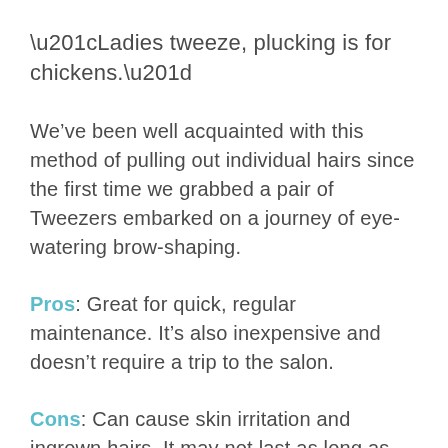“Ladies tweeze, plucking is for chickens.”
We’ve been well acquainted with this method of pulling out individual hairs since the first time we grabbed a pair of Tweezers embarked on a journey of eye-watering brow-shaping.
Pros: Great for quick, regular maintenance. It’s also inexpensive and doesn’t require a trip to the salon.
Cons: Can cause skin irritation and ingrown hairs. It may not last as long as